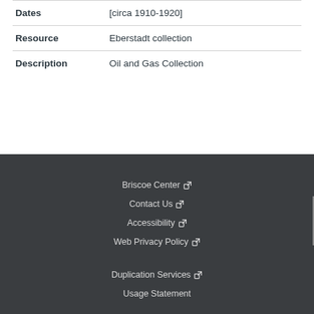| Field | Value |
| --- | --- |
| Dates | [circa 1910-1920] |
| Resource | Eberstadt collection |
| Description | Oil and Gas Collection |
Briscoe Center | Contact Us | Accessibility | Web Privacy Policy | Duplication Services | Usage Statement